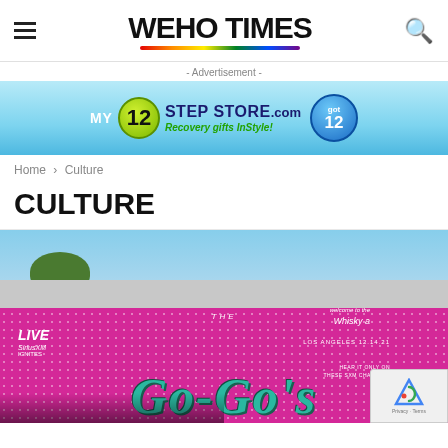WEHO TIMES
- Advertisement -
[Figure (photo): Advertisement banner for My12StepStore.com with blue gradient background, green circle with number 12, and blue circle with 'got 12' text. Tagline: Recovery gifts InStyle!]
Home › Culture
CULTURE
[Figure (photo): Photo of a large outdoor billboard/mural for The Go-Go's featuring pink glitter background with teal stylized text reading 'The Go-Go's'. Includes Live SiriusXM branding, Whisky a Go Go venue mention, Los Angeles 12.14.21 date, and 'Hear It Only On These SXM Channels' text. A reCAPTCHA badge is visible in the lower right corner.]